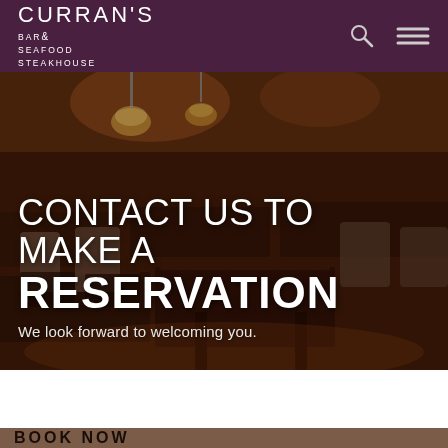CURRAN'S BAR & SEAFOOD STEAKHOUSE
[Figure (photo): Interior of Curran's Bar & Seafood Steakhouse restaurant showing dining tables set with cutlery and placemats, upholstered chairs, pendant lights overhead, warm amber lighting throughout.]
CONTACT US TO MAKE A RESERVATION
We look forward to welcoming you.
BOOK NOW